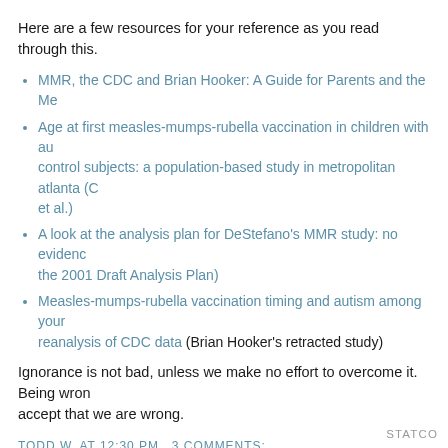Here are a few resources for your reference as you read through this.
MMR, the CDC and Brian Hooker: A Guide for Parents and the Me…
Age at first measles-mumps-rubella vaccination in children with au… control subjects: a population-based study in metropolitan atlanta (C… et al.)
A look at the analysis plan for DeStefano's MMR study: no evidenc… the 2001 Draft Analysis Plan)
Measles-mumps-rubella vaccination timing and autism among your… reanalysis of CDC data (Brian Hooker's retracted study)
Ignorance is not bad, unless we make no effort to overcome it. Being wron… accept that we are wrong.
TODD W. AT 12:30 PM  3 COMMENTS:
SHARE
Home
View web version
STATCO…